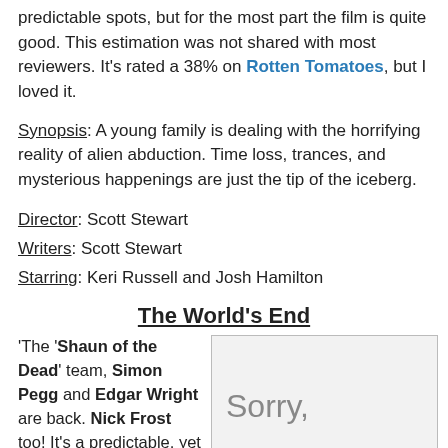predictable spots, but for the most part the film is quite good. This estimation was not shared with most reviewers. It's rated a 38% on Rotten Tomatoes, but I loved it.
Synopsis: A young family is dealing with the horrifying reality of alien abduction. Time loss, trances, and mysterious happenings are just the tip of the iceberg.
Director: Scott Stewart
Writers: Scott Stewart
Starring: Keri Russell and Josh Hamilton
The World's End
'The 'Shaun of the Dead' team, Simon Pegg and Edgar Wright are back. Nick Frost too! It's a predictable, yet novel
[Figure (other): Image placeholder showing 'Sorry,' text on a light grey background]